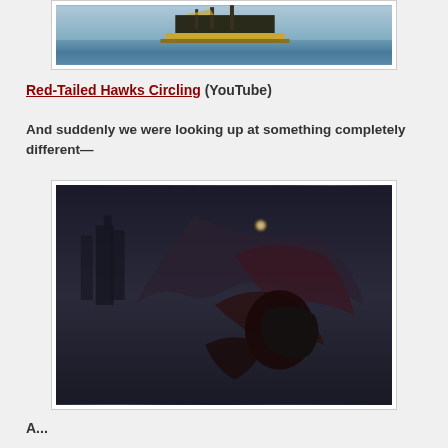[Figure (photo): A tall sailing ship (galleon) on open water, viewed from the side against a blue sky and sea.]
Red-Tailed Hawks Circling (YouTube)
And suddenly we were looking up at something completely different—
[Figure (illustration): Fantasy dark illustration of a demonic winged creature attacking a figure, set against a stormy moonlit sky with dark towers in the background.]
A...